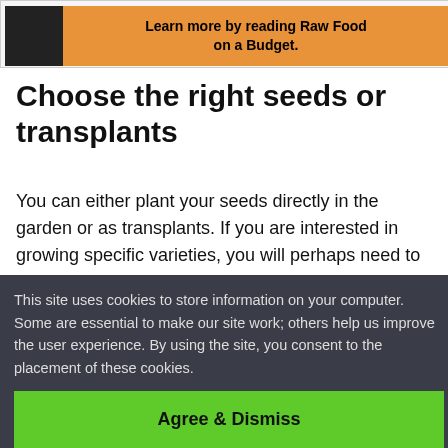[Figure (illustration): Orange promotional banner with a dark image on the left and bold text reading 'Learn more by reading Raw Food on a Budget.' on an orange background.]
Choose the right seeds or transplants
You can either plant your seeds directly in the garden or as transplants. If you are interested in growing specific varieties, you will perhaps need to grow your transplants from seeds, and this can be a great way to save money.
This site uses cookies to store information on your computer. Some are essential to make our site work; others help us improve the user experience. By using the site, you consent to the placement of these cookies.
Agree & Dismiss
right. After doing the groundwork, you just need to start